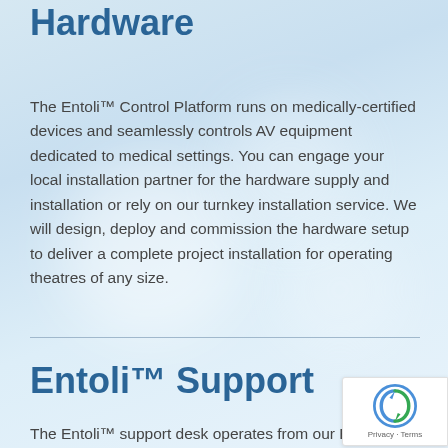Hardware
The Entoli™ Control Platform runs on medically-certified devices and seamlessly controls AV equipment dedicated to medical settings. You can engage your local installation partner for the hardware supply and installation or rely on our turnkey installation service. We will design, deploy and commission the hardware setup to deliver a complete project installation for operating theatres of any size.
Entoli™ Support
The Entoli™ support desk operates from our European